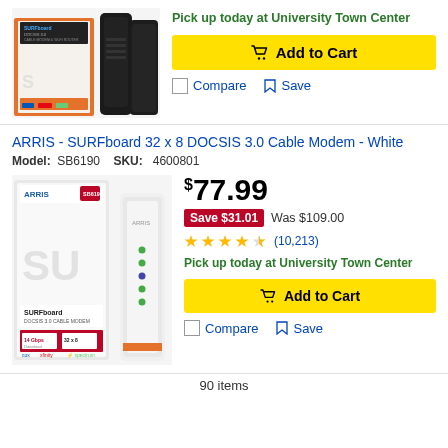[Figure (photo): ARRIS SURFboard DOCSIS 3.0 cable modem/WiFi router black product box and device]
Pick up today at University Town Center
Add to Cart
Compare
Save
ARRIS - SURFboard 32 x 8 DOCSIS 3.0 Cable Modem - White
Model: SB6190   SKU: 4600801
[Figure (photo): ARRIS SURFboard SB6190 white cable modem product box and device]
$77.99
Save $31.01  Was $109.00
(10,213)
Pick up today at University Town Center
Add to Cart
Compare
Save
90 items